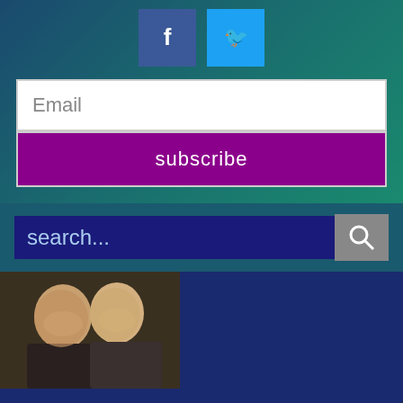[Figure (other): Facebook and Twitter social media icon buttons]
Email
subscribe
search...
[Figure (photo): Two young men smiling, photographed indoors]
needs that transition, but my mind fails me, so we'll just have to ignore it.
That's all for today you doughty donuts. If you like out content, please consider subscribing. If you like